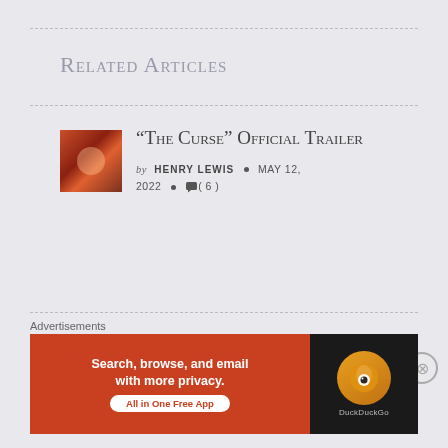Related Articles
“The Curse” Official Trailer
by HENRY LEWIS • MAY 12, 2022 • 💬( 6 )
Kyiv: Ukraine’s Grieving Heart
Advertisements
[Figure (screenshot): DuckDuckGo advertisement banner: orange background on left with text 'Search, browse, and email with more privacy. All in One Free App', dark right panel with DuckDuckGo logo circle]